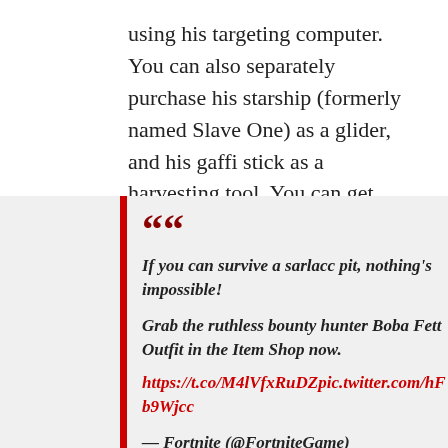using his targeting computer. You can also separately purchase his starship (formerly named Slave One) as a glider, and his gaffi stick as a harvesting tool. You can get everything together in a bundle should you want it all.
If you can survive a sarlacc pit, nothing's impossible!

Grab the ruthless bounty hunter Boba Fett Outfit in the Item Shop now.
https://t.co/M4lVfxRuDZpic.twitter.com/hFb9Wjc

— Fortnite (@FortniteGame)
December 25, 2021